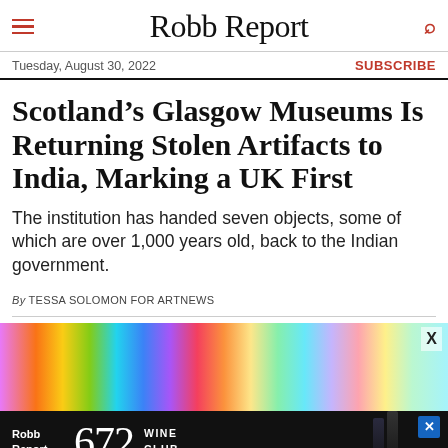Robb Report
Tuesday, August 30, 2022 | SUBSCRIBE
Scotland’s Glasgow Museums Is Returning Stolen Artifacts to India, Marking a UK First
The institution has handed seven objects, some of which are over 1,000 years old, back to the Indian government.
By TESSA SOLOMON FOR ARTNEWS
[Figure (photo): Colorful mural/artwork image at the top of the article with an X close button overlay]
[Figure (other): Robb Report 672 Wine Club advertisement banner with wine bottles on dark background]